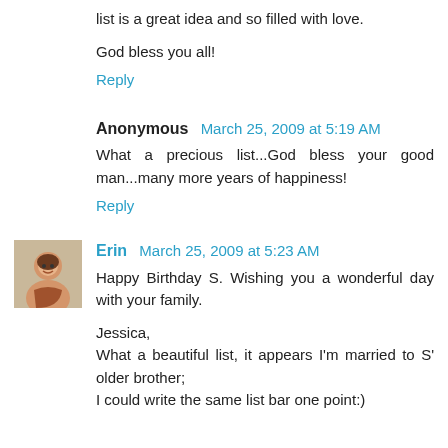list is a great idea and so filled with love.
God bless you all!
Reply
Anonymous  March 25, 2009 at 5:19 AM
What a precious list...God bless your good man...many more years of happiness!
Reply
[Figure (photo): Small avatar photo of Erin, a woman smiling]
Erin  March 25, 2009 at 5:23 AM
Happy Birthday S. Wishing you a wonderful day with your family.
Jessica,
What a beautiful list, it appears I'm married to S' older brother;
I could write the same list bar one point:)